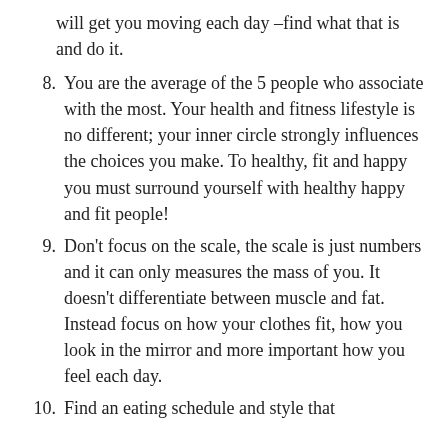will get you moving each day –find what that is and do it.
8. You are the average of the 5 people who associate with the most. Your health and fitness lifestyle is no different; your inner circle strongly influences the choices you make. To healthy, fit and happy you must surround yourself with healthy happy and fit people!
9. Don't focus on the scale, the scale is just numbers and it can only measures the mass of you. It doesn't differentiate between muscle and fat. Instead focus on how your clothes fit, how you look in the mirror and more important how you feel each day.
10. Find an eating schedule and style that